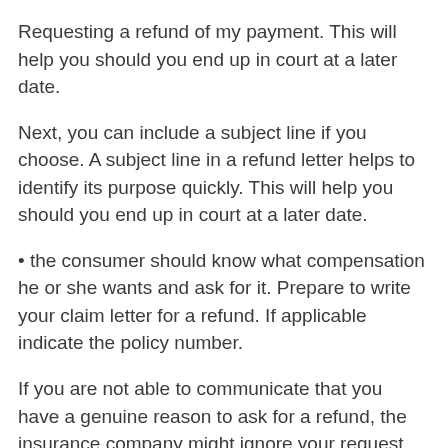Requesting a refund of my payment. This will help you should you end up in court at a later date.
Next, you can include a subject line if you choose. A subject line in a refund letter helps to identify its purpose quickly. This will help you should you end up in court at a later date.
• the consumer should know what compensation he or she wants and ask for it. Prepare to write your claim letter for a refund. If applicable indicate the policy number.
If you are not able to communicate that you have a genuine reason to ask for a refund, the insurance company might ignore your request. You will need the following items: Start off with a greeting.
The author mentions details of the transaction, such as the